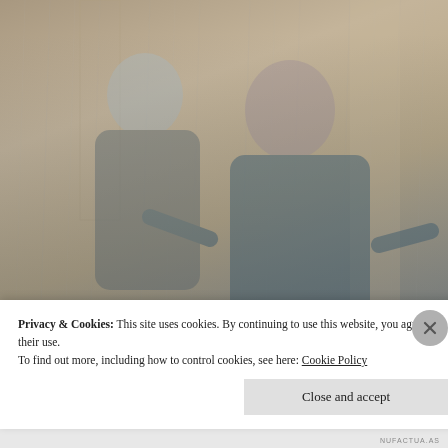[Figure (photo): Two people laughing and enjoying rain outdoors. A man in a grey shirt on the left and a woman in a blue shirt on the right with arms outstretched, both smiling, rain falling around them, with a stone column background.]
Privacy & Cookies: This site uses cookies. By continuing to use this website, you agree to their use.
To find out more, including how to control cookies, see here: Cookie Policy
Close and accept